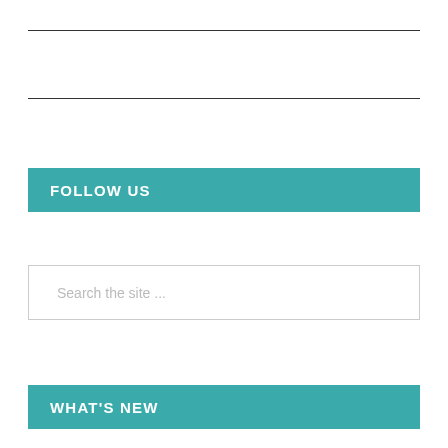FOLLOW US
Search the site ...
WHAT'S NEW